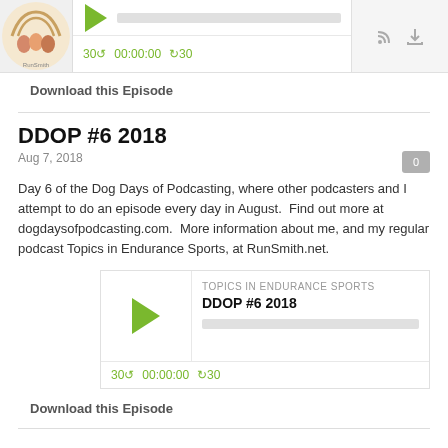[Figure (screenshot): Podcast player widget at top with thumbnail, play button, progress bar, time controls, and icons]
Download this Episode
DDOP #6 2018
Aug 7, 2018
Day 6 of the Dog Days of Podcasting, where other podcasters and I attempt to do an episode every day in August.  Find out more at dogdaysofpodcasting.com.  More information about me, and my regular podcast Topics in Endurance Sports, at RunSmith.net.
[Figure (screenshot): Embedded podcast player for DDOP #6 2018 episode showing TOPICS IN ENDURANCE SPORTS label, play button, progress bar, and time controls]
Download this Episode